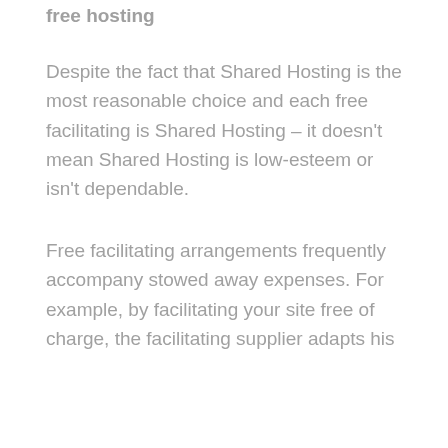free hosting
Despite the fact that Shared Hosting is the most reasonable choice and each free facilitating is Shared Hosting – it doesn't mean Shared Hosting is low-esteem or isn't dependable.
Free facilitating arrangements frequently accompany stowed away expenses. For example, by facilitating your site free of charge, the facilitating supplier adapts his